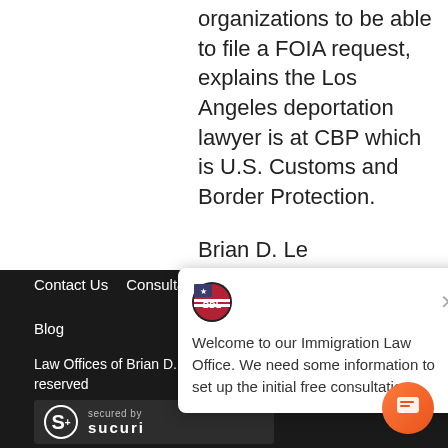organizations to be able to file a FOIA request, explains the Los Angeles deportation lawyer is at CBP which is U.S. Customs and Border Protection.
Brian D. Le
Contact Us   Consultatio...   Blog   Law Offices of Brian D. Loren, APC (c) 2022, All Rights reserved
[Figure (logo): Sucuri security badge with S+ logo and 'secured by sucuri' text]
[Figure (infographic): Chat popup with BDL logo: Welcome to our Immigration Law Office. We need some information to set up the initial free consultation. With orange chat button.]